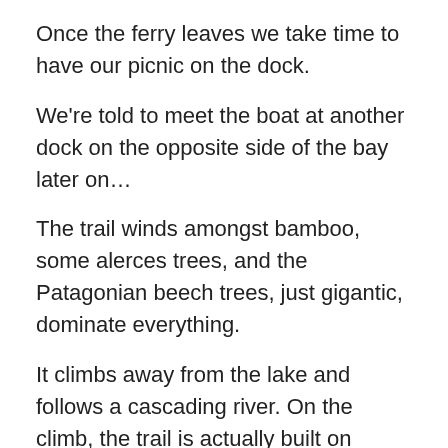Once the ferry leaves we take time to have our picnic on the dock.
We're told to meet the boat at another dock on the opposite side of the bay later on…
The trail winds amongst bamboo, some alerces trees, and the Patagonian beech trees, just gigantic, dominate everything.
It climbs away from the lake and follows a cascading river. On the climb, the trail is actually built on platforms. I get the idea that this must be really busy in the summer! We're continually reminded that our timing is 100% perfect. Early November we experience no bugs, and few crowds. Up and up the trail winds. The sounds of the cascading river are everywhere, and there are trail extensions to view it.